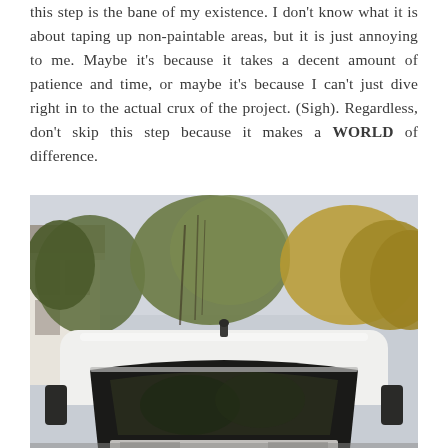this step is the bane of my existence. I don't know what it is about taping up non-paintable areas, but it is just annoying to me. Maybe it's because it takes a decent amount of patience and time, or maybe it's because I can't just dive right in to the actual crux of the project. (Sigh). Regardless, don't skip this step because it makes a WORLD of difference.
[Figure (photo): Outdoor photograph showing the front/top of a white van or truck with its windshield reflecting trees. Background shows a house on the left, large green and yellow autumn trees, and an overcast sky.]